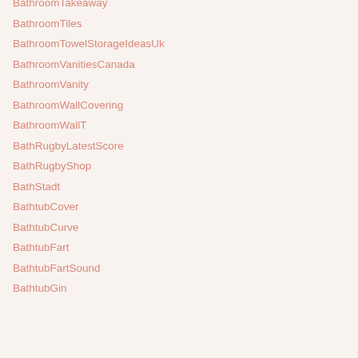BathroomTakeaway
BathroomTiles
BathroomTowelStorageIdeasUk
BathroomVanitiesCanada
BathroomVanity
BathroomWallCovering
BathroomWallT
BathRugbyLatestScore
BathRugbyShop
BathStadt
BathtubCover
BathtubCurve
BathtubFart
BathtubFartSound
BathtubGin